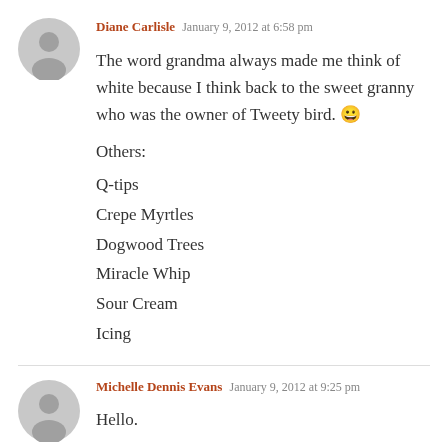Diane Carlisle  January 9, 2012 at 6:58 pm
The word grandma always made me think of white because I think back to the sweet granny who was the owner of Tweety bird. 😀
Others:
Q-tips
Crepe Myrtles
Dogwood Trees
Miracle Whip
Sour Cream
Icing
Michelle Dennis Evans  January 9, 2012 at 9:25 pm
Hello.